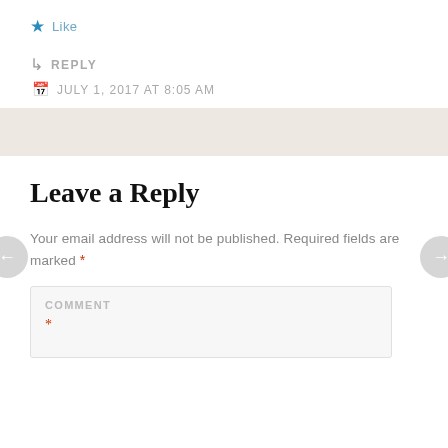★ Like
↳ REPLY
JULY 1, 2017 AT 8:05 AM
Leave a Reply
Your email address will not be published. Required fields are marked *
COMMENT *